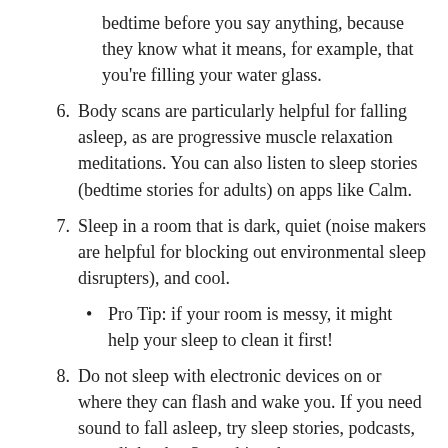bedtime before you say anything, because they know what it means, for example, that you’re filling your water glass.
6. Body scans are particularly helpful for falling asleep, as are progressive muscle relaxation meditations. You can also listen to sleep stories (bedtime stories for adults) on apps like Calm.
7. Sleep in a room that is dark, quiet (noise makers are helpful for blocking out environmental sleep disrupters), and cool.
Pro Tip: if your room is messy, it might help your sleep to clean it first!
8. Do not sleep with electronic devices on or where they can flash and wake you. If you need sound to fall asleep, try sleep stories, podcasts, or audiobooks. Something that